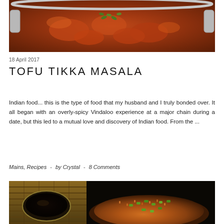[Figure (photo): Top-down photo of Indian curry dish (Tofu Tikka Masala) in a silver kadai/wok with handles, showing rich orange-red tomato-based curry with garnish of cilantro leaves]
18 April 2017
TOFU TIKKA MASALA
Indian food... this is the type of food that my husband and I truly bonded over. It all began with an overly-spicy Vindaloo experience at a major chain during a date, but this led to a mutual love and discovery of Indian food. From the ...
Mains, Recipes  -  by Crystal  -  8 Comments
[Figure (photo): Photo split into two parts: left shows a bowl of dark soy sauce on a bamboo mat; right shows a plate of orange fried rice with green onions on a black background]